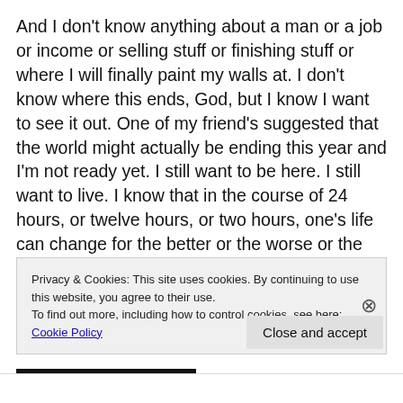And I don't know anything about a man or a job or income or selling stuff or finishing stuff or where I will finally paint my walls at. I don't know where this ends, God, but I know I want to see it out. One of my friend's suggested that the world might actually be ending this year and I'm not ready yet. I still want to be here. I still want to live. I know that in the course of 24 hours, or twelve hours, or two hours, one's life can change for the better or the worse or the better again, and we can't always control the way things go, try as we may. But we can choose to get up, even in our weakest moments. We can choose to just see what's
Privacy & Cookies: This site uses cookies. By continuing to use this website, you agree to their use.
To find out more, including how to control cookies, see here: Cookie Policy
Close and accept